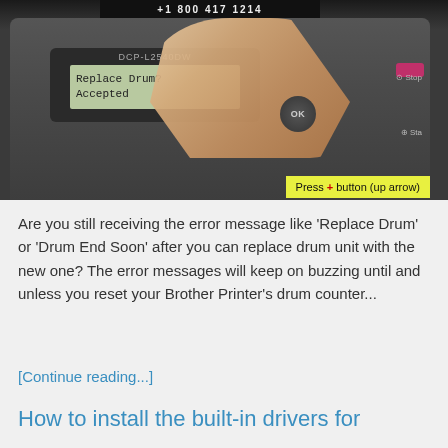[Figure (photo): Photo of a Brother DCP-L2540DW printer control panel showing 'Replace Drum? Accepted' on LCD screen. A finger is pressing a button. A yellow callout reads 'Press + button (up arrow)'. A top bar shows a phone number.]
Are you still receiving the error message like 'Replace Drum' or 'Drum End Soon' after you can replace drum unit with the new one? The error messages will keep on buzzing until and unless you reset your Brother Printer's drum counter...
[Continue reading...]
How to install the built-in drivers for